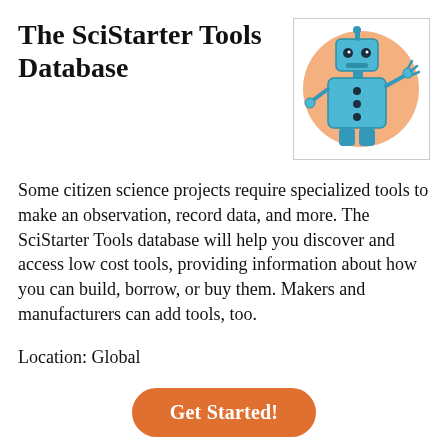The SciStarter Tools Database
[Figure (illustration): A cartoon blue robot with a round orange/peach background circle, waving its hand. The robot has a square body with buttons, round eyes, and thin arms.]
Some citizen science projects require specialized tools to make an observation, record data, and more. The SciStarter Tools database will help you discover and access low cost tools, providing information about how you can build, borrow, or buy them. Makers and manufacturers can add tools, too.
Location: Global
Get Started!